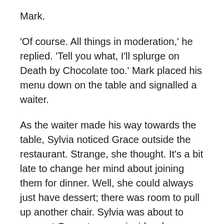Mark.
'Of course. All things in moderation,' he replied. 'Tell you what, I'll splurge on Death by Chocolate too.' Mark placed his menu down on the table and signalled a waiter.
As the waiter made his way towards the table, Sylvia noticed Grace outside the restaurant. Strange, she thought. It's a bit late to change her mind about joining them for dinner. Well, she could always just have dessert; there was room to pull up another chair. Sylvia was about to wave at Grace to come inside when a sense of dread filled her stomach. Grace looked different. Ghostly, in fact. And she was clinging to the window. A strange facial expression crossed Grace's face as their eyes connected. Fear mixed with relief, Sylvia recognised. And within moments of their gaze locking on each other, Grace's eyes